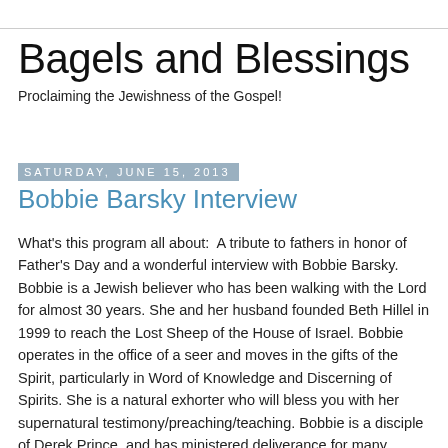Bagels and Blessings
Proclaiming the Jewishness of the Gospel!
Saturday, June 15, 2013
Bobbie Barsky Interview
What's this program all about:  A tribute to fathers in honor of Father's Day and a wonderful interview with Bobbie Barsky. Bobbie is a Jewish believer who has been walking with the Lord for almost 30 years. She and her husband founded Beth Hillel in 1999 to reach the Lost Sheep of the House of Israel. Bobbie operates in the office of a seer and moves in the gifts of the Spirit, particularly in Word of Knowledge and Discerning of Spirits. She is a natural exhorter who will bless you with her supernatural testimony/preaching/teaching. Bobbie is a disciple of Derek Prince, and has ministered deliverance for many years. She claims North Carolina as home, where she co-hosted a religious TV show. Bobbie